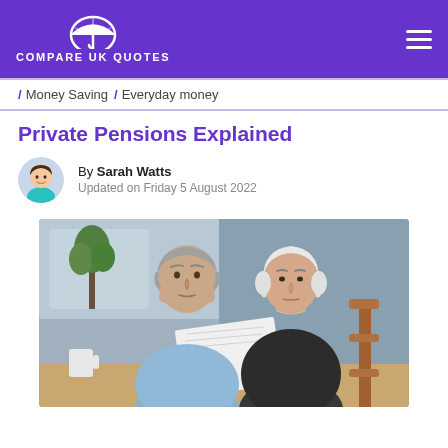COMPARE UK QUOTES
/ Money Saving / Everyday money
Private Pensions Explained
By Sarah Watts
Updated on Friday 5 August 2022
[Figure (photo): An elderly couple sitting at a table looking at a document together. The man has grey hair and is wearing a light blue shirt. The woman has short white/silver hair and is wearing a dark patterned top.]